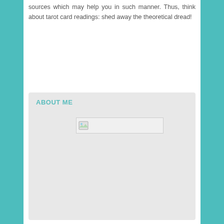sources which may help you in such manner. Thus, think about tarot card readings: shed away the theoretical dread!
ABOUT ME
[Figure (photo): A broken/missing image placeholder with a small image icon on the left side, inside a light gray rectangle]